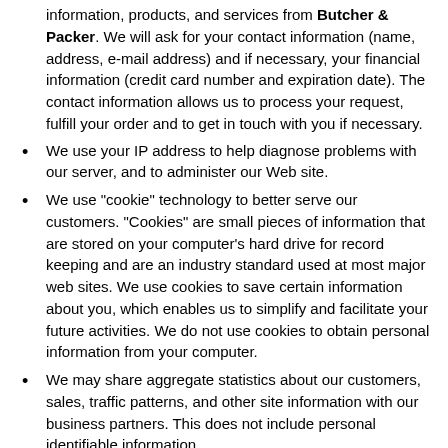information, products, and services from Butcher & Packer. We will ask for your contact information (name, address, e-mail address) and if necessary, your financial information (credit card number and expiration date). The contact information allows us to process your request, fulfill your order and to get in touch with you if necessary.
We use your IP address to help diagnose problems with our server, and to administer our Web site.
We use "cookie" technology to better serve our customers. "Cookies" are small pieces of information that are stored on your computer's hard drive for record keeping and are an industry standard used at most major web sites. We use cookies to save certain information about you, which enables us to simplify and facilitate your future activities. We do not use cookies to obtain personal information from your computer.
We may share aggregate statistics about our customers, sales, traffic patterns, and other site information with our business partners. This does not include personal identifiable information.
We may release your private information if required to do so by law. If served with a subpoena, search warrant or court order, we would provide the necessary information.
We may use the information we collect to occasionally send you notices about important changes and new products, services and special offers we think you will be interested in. You may opt-out of receiving future mailings by sending an email to remove@butcher-